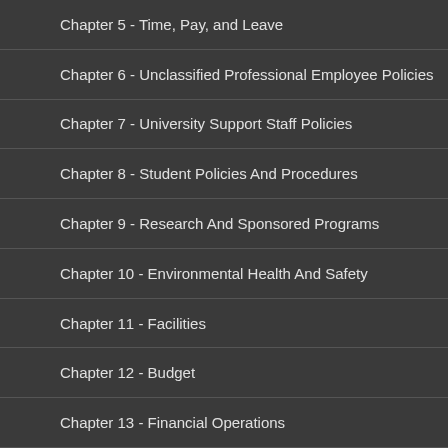Chapter 5 - Time, Pay, and Leave
Chapter 6 - Unclassified Professional Employee Policies
Chapter 7 - University Support Staff Policies
Chapter 8 - Student Policies And Procedures
Chapter 9 - Research And Sponsored Programs
Chapter 10 - Environmental Health And Safety
Chapter 11 - Facilities
Chapter 12 - Budget
Chapter 13 - Financial Operations